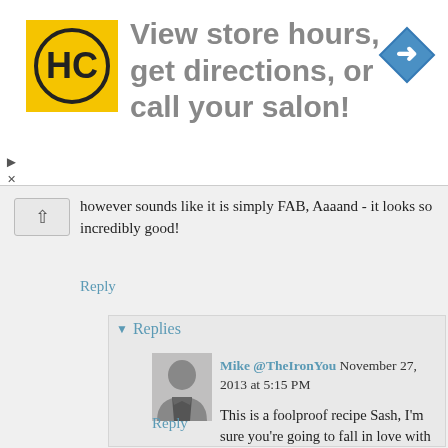[Figure (screenshot): Advertisement banner: HC logo on yellow background, text 'View store hours, get directions, or call your salon!', blue diamond navigation icon on right]
however sounds like it is simply FAB, Aaaand - it looks so incredibly good!
Reply
▾ Replies
Mike @TheIronYou November 27, 2013 at 5:15 PM
This is a foolproof recipe Sash, I'm sure you're going to fall in love with it!
Reply